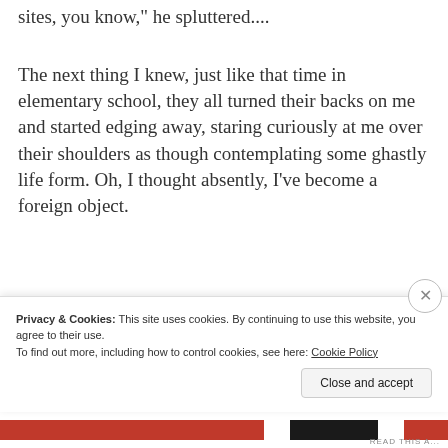sites, you know," he spluttered....
The next thing I knew, just like that time in elementary school, they all turned their backs on me and started edging away, staring curiously at me over their shoulders as though contemplating some ghastly life form. Oh, I thought absently, I've become a foreign object.
Privacy & Cookies: This site uses cookies. By continuing to use this website, you agree to their use.
To find out more, including how to control cookies, see here: Cookie Policy